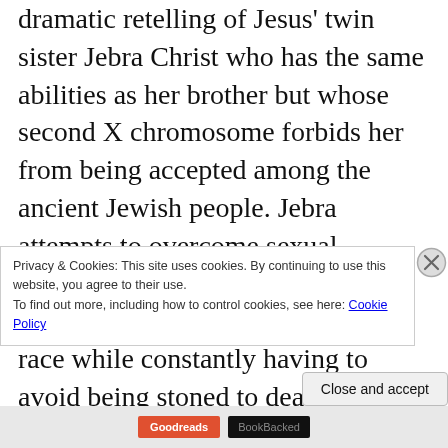dramatic retelling of Jesus' twin sister Jebra Christ who has the same abilities as her brother but whose second X chromosome forbids her from being accepted among the ancient Jewish people. Jebra attempts to overcome sexual discrimination and take her rightful place as the co-savior of the human race while constantly having to avoid being stoned to death. This feminist masterpiece uncovers the truth behind the Christ family and tells us that we can achieve the respect of our ignorant peers, even if we have amazing breasts
Privacy & Cookies: This site uses cookies. By continuing to use this website, you agree to their use.
To find out more, including how to control cookies, see here: Cookie Policy
Close and accept